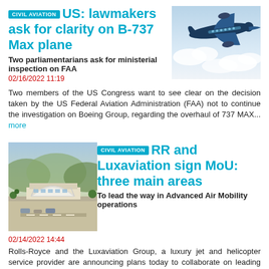CIVIL AVIATION US: lawmakers ask for clarity on B-737 Max plane
[Figure (photo): Boeing 737 Max aircraft in flight against cloudy sky]
Two parliamentarians ask for ministerial inspection on FAA
02/16/2022 11:19
Two members of the US Congress want to see clear on the decision taken by the US Federal Aviation Administration (FAA) not to continue the investigation on Boeing Group, regarding the overhaul of 737 MAX... more
[Figure (photo): Aerial view of airport terminal with hangar structure and parking area]
CIVIL AVIATION RR and Luxaviation sign MoU: three main areas
To lead the way in Advanced Air Mobility operations
02/14/2022 14:44
Rolls-Royce and the Luxaviation Group, a luxury jet and helicopter service provider are announcing plans today to collaborate on leading the development and deployment of Advanced Air Mobility (AAM). RR... more